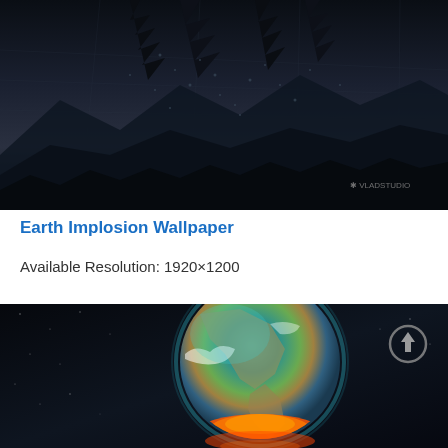[Figure (illustration): Dark atmospheric wallpaper showing an inverted forest/tree silhouette with particles and mountain silhouettes against a stormy dark background. 'VLADSTUDIO' watermark visible in lower right.]
Earth Implosion Wallpaper
Available Resolution: 1920×1200
[Figure (illustration): Digital illustration of Earth from space showing North America with glowing teal atmosphere and fiery orange/red explosion at the bottom of the planet. An upload/arrow icon is visible in the upper right corner of the image.]